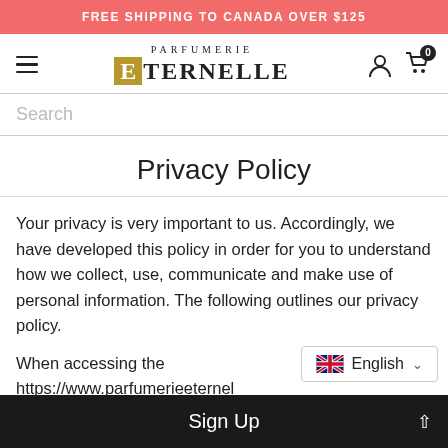FREE SHIPPING TO CANADA OVER $125
[Figure (logo): Parfumerie Eternelle logo with golden E box and hamburger menu, account and cart icons]
Search
Privacy Policy
Your privacy is very important to us. Accordingly, we have developed this policy in order for you to understand how we collect, use, communicate and make use of personal information. The following outlines our privacy policy.
When accessing the https://www.parfumerieeternel...
English
Sign Up